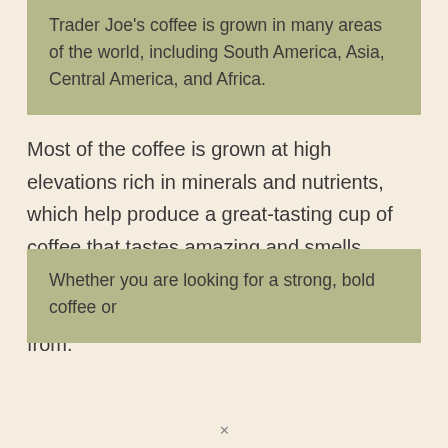Trader Joe's coffee is grown in many areas of the world, including South America, Asia, Central America, and Africa.
Most of the coffee is grown at high elevations rich in minerals and nutrients, which help produce a great-tasting cup of coffee that tastes amazing and smells lovely. You can get it ground or whole bean, and there are a variety of blends to choose from.
Whether you are looking for a strong, bold coffee or